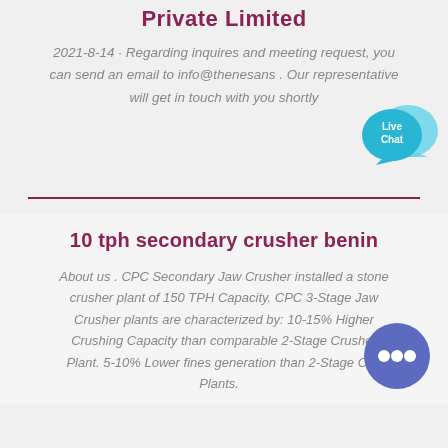Private Limited
2021-8-14 · Regarding inquires and meeting request, you can send an email to info@thenesans . Our representative will get in touch with you shortly
[Figure (illustration): Live Chat speech bubble icon in cyan/blue color with 'Live Chat' text]
10 tph secondary crusher benin
About us . CPC Secondary Jaw Crusher installed a stone crusher plant of 150 TPH Capacity. CPC 3-Stage Jaw Crusher plants are characterized by: 10-15% Higher Crushing Capacity than comparable 2-Stage Crusher Plant. 5-10% Lower fines generation than 2-Stage Cone Crusher Plants.
[Figure (illustration): Blue circular chat/messaging button icon]